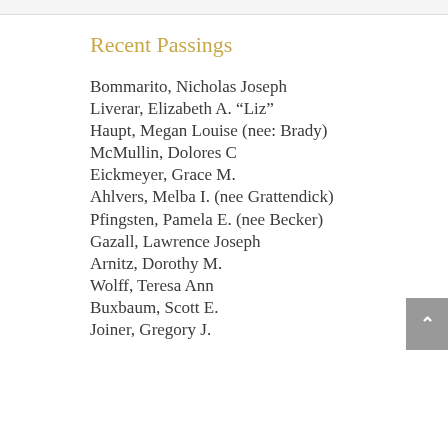Recent Passings
Bommarito, Nicholas Joseph
Liverar, Elizabeth A. “Liz”
Haupt, Megan Louise (nee: Brady)
McMullin, Dolores C
Eickmeyer, Grace M.
Ahlvers, Melba I. (nee Grattendick)
Pfingsten, Pamela E. (nee Becker)
Gazall, Lawrence Joseph
Arnitz, Dorothy M.
Wolff, Teresa Ann
Buxbaum, Scott E.
Joiner, Gregory J.